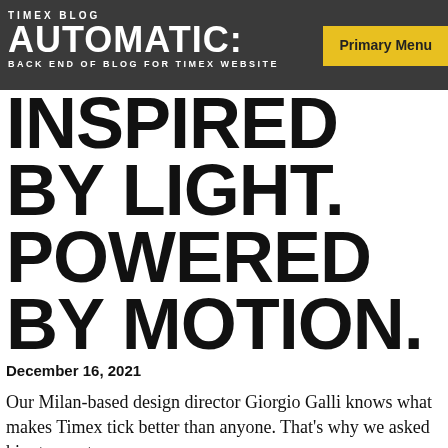TIMEX BLOG
AUTOMATIC: BACK END OF BLOG FOR TIMEX WEBSITE
INSPIRED BY LIGHT. POWERED BY MOTION.
December 16, 2021
Our Milan-based design director Giorgio Galli knows what makes Timex tick better than anyone. That's why we asked him to create